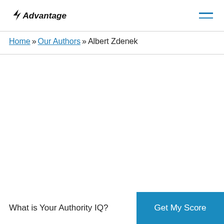Advantage [logo] [hamburger menu]
Home » Our Authors » Albert Zdenek
What is Your Authority IQ?
Get My Score